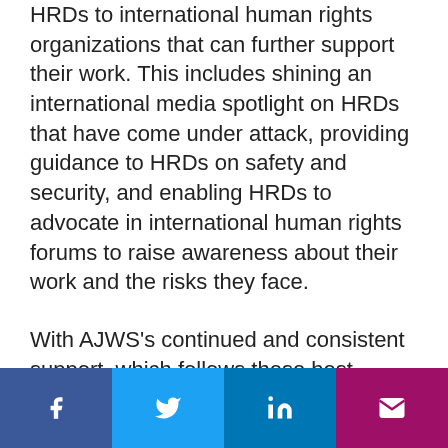HRDs to international human rights organizations that can further support their work. This includes shining an international media spotlight on HRDs that have come under attack, providing guidance to HRDs on safety and security, and enabling HRDs to advocate in international human rights forums to raise awareness about their work and the risks they face.
With AJWS's continued and consistent support, which follows these best practices, our partners are able to better weather the storms brewing in their countries and maintain their ongoing
[Figure (other): Social media sharing bar with four buttons: Facebook (dark blue, f icon), Twitter (light blue, bird icon), LinkedIn (medium blue, in icon), Email (magenta/pink, envelope icon)]